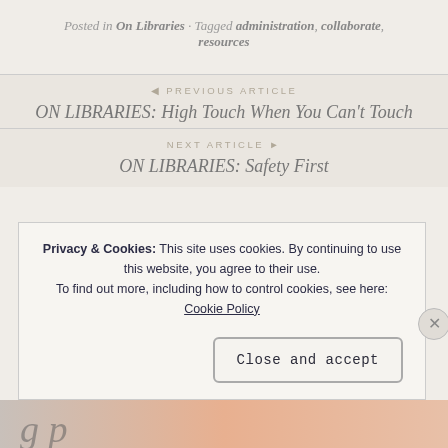Posted in On Libraries · Tagged administration, collaborate, resources
◄ PREVIOUS ARTICLE
ON LIBRARIES: High Touch When You Can't Touch
NEXT ARTICLE ►
ON LIBRARIES: Safety First
Privacy & Cookies: This site uses cookies. By continuing to use this website, you agree to their use. To find out more, including how to control cookies, see here: Cookie Policy
Close and accept